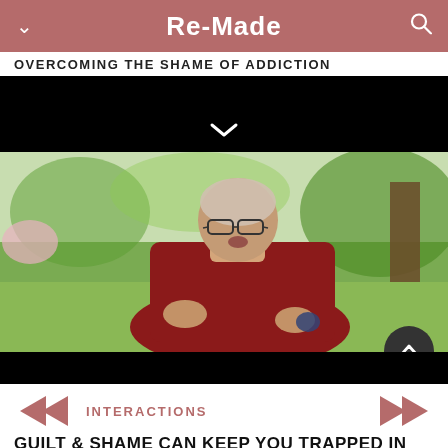Re-Made
OVERCOMING THE SHAME OF ADDICTION
[Figure (screenshot): Video player showing an elderly person in maroon Buddhist robes speaking outdoors in a garden setting, with playback controls and a scroll-up button.]
INTERACTIONS
GUILT & SHAME CAN KEEP YOU TRAPPED IN